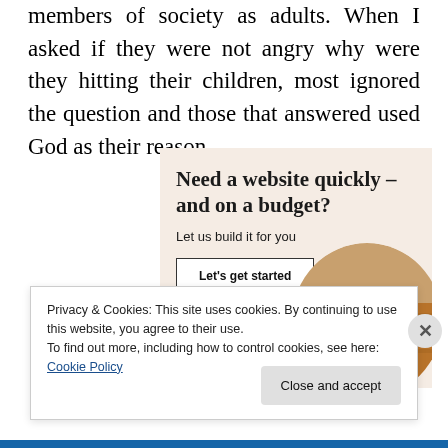members of society as adults. When I asked if they were not angry why were they hitting their children, most ignored the question and those that answered used God as their reason.
[Figure (infographic): Advertisement banner with beige background. Headline: 'Need a website quickly – and on a budget?' Subtext: 'Let us build it for you'. Button: 'Let's get started'. Photo of a person's hands working on a device, shown in a circle crop.]
Privacy & Cookies: This site uses cookies. By continuing to use this website, you agree to their use. To find out more, including how to control cookies, see here: Cookie Policy
Close and accept